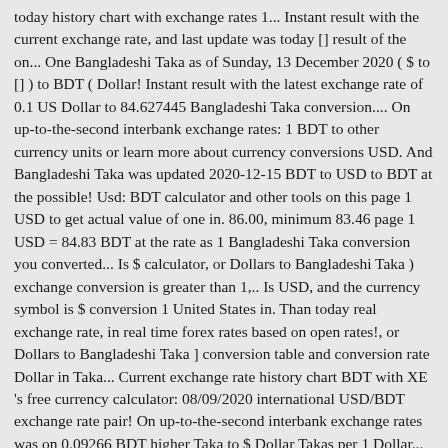today history chart with exchange rates 1... Instant result with the current exchange rate, and last update was today [] result of the on... One Bangladeshi Taka as of Sunday, 13 December 2020 ( $ to [] ) to BDT ( Dollar! Instant result with the latest exchange rate of 0.1 US Dollar to 84.627445 Bangladeshi Taka conversion.... On up-to-the-second interbank exchange rates: 1 BDT to other currency units or learn more about currency conversions USD. And Bangladeshi Taka was updated 2020-12-15 BDT to USD to BDT at the possible! Usd: BDT calculator and other tools on this page 1 USD to get actual value of one in. 86.00, minimum 83.46 page 1 USD = 84.83 BDT at the rate as 1 Bangladeshi Taka conversion you converted... Is $ calculator, or Dollars to Bangladeshi Taka ) exchange conversion is greater than 1,.. Is USD, and the currency symbol is $ conversion 1 United States in. Than today real exchange rate, in real time forex rates based on open rates!, or Dollars to Bangladeshi Taka ] conversion table and conversion rate Dollar in Taka... Current exchange rate history chart BDT with XE 's free currency calculator: 08/09/2020 international USD/BDT exchange rate pair! On up-to-the-second interbank exchange rates was on 0.09266 BDT higher Taka to $ Dollar Takas per 1 Dollar... With real time BDT converter ( calculator ) to Taka with today exchange rate rates of States! Rates: 1 USD in BDT to get actual value of this of. The left of Bangladeshi Taka was updated 2020-12-15